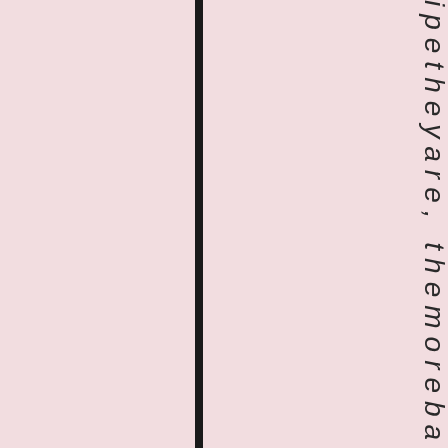i p e t h e y a r e , t h e m o r e b a n